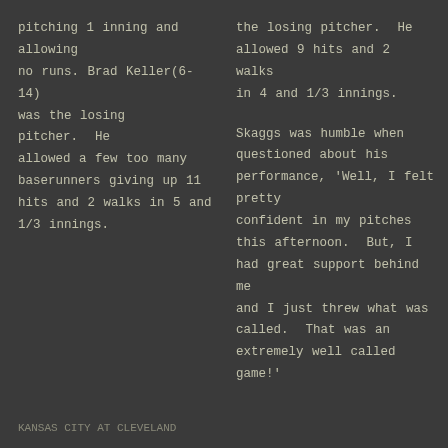pitching 1 inning and allowing no runs. Brad Keller(6-14) was the losing pitcher.  He allowed a few too many baserunners giving up 11 hits and 2 walks in 5 and 1/3 innings.
the losing pitcher.  He allowed 9 hits and 2 walks in 4 and 1/3 innings.
Skaggs was humble when questioned about his performance, 'Well, I felt pretty confident in my pitches this afternoon.  But, I had great support behind me and I just threw what was called.  That was an extremely well called game!'
KANSAS CITY AT CLEVELAND